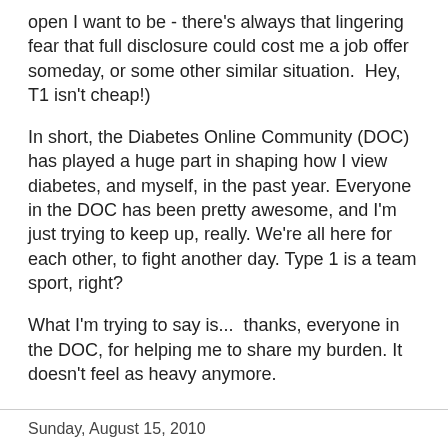open I want to be - there's always that lingering fear that full disclosure could cost me a job offer someday, or some other similar situation.  Hey, T1 isn't cheap!)
In short, the Diabetes Online Community (DOC) has played a huge part in shaping how I view diabetes, and myself, in the past year. Everyone in the DOC has been pretty awesome, and I'm just trying to keep up, really. We're all here for each other, to fight another day. Type 1 is a team sport, right?
What I'm trying to say is...  thanks, everyone in the DOC, for helping me to share my burden. It doesn't feel as heavy anymore.
Kim    6 comments:
Share
Sunday, August 15, 2010